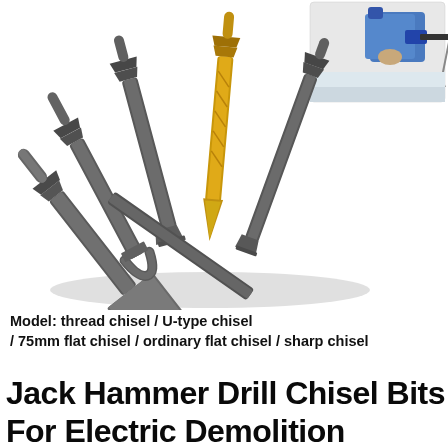[Figure (photo): Photograph of five jackhammerchisel bit tools arranged diagonally on a white background: thread chisel, U-type chisel, 75mm flat chisel, ordinary flat chisel, and a gold-colored sharp chisel. A small inset photo in the upper right shows a person using a jackhammer drill.]
Model: thread chisel / U-type chisel / 75mm flat chisel / ordinary flat chisel / sharp chisel
Jack Hammer Drill Chisel Bits For Electric Demolition